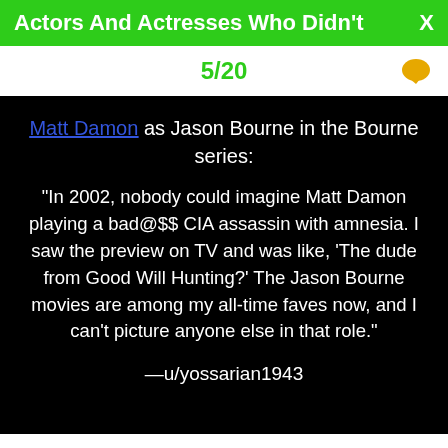Actors And Actresses Who Didn't   X
5/20
Matt Damon as Jason Bourne in the Bourne series:
“In 2002, nobody could imagine Matt Damon playing a bad@$$ CIA assassin with amnesia. I saw the preview on TV and was like, ‘The dude from Good Will Hunting?’ The Jason Bourne movies are among my all-time faves now, and I can’t picture anyone else in that role.”
—u/yossarian1943